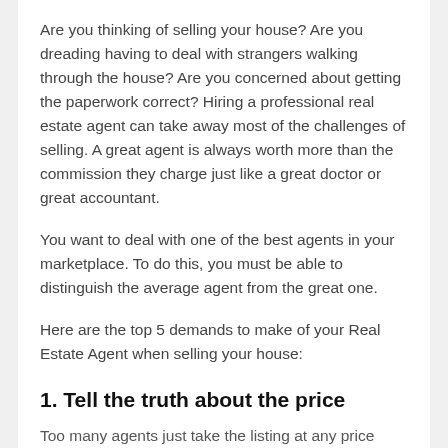Are you thinking of selling your house? Are you dreading having to deal with strangers walking through the house? Are you concerned about getting the paperwork correct? Hiring a professional real estate agent can take away most of the challenges of selling. A great agent is always worth more than the commission they charge just like a great doctor or great accountant.
You want to deal with one of the best agents in your marketplace. To do this, you must be able to distinguish the average agent from the great one.
Here are the top 5 demands to make of your Real Estate Agent when selling your house:
1. Tell the truth about the price
Too many agents just take the listing at any price